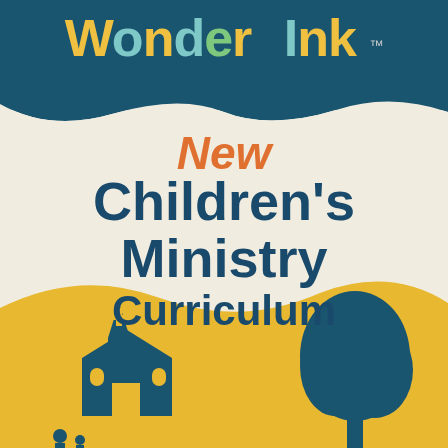[Figure (logo): Wonder Ink logo with colorful letters on dark teal background with wavy bottom edge]
New Children's Ministry Curriculum
[Figure (illustration): Gold wave at bottom with dark teal silhouettes of a church steeple and a tree]